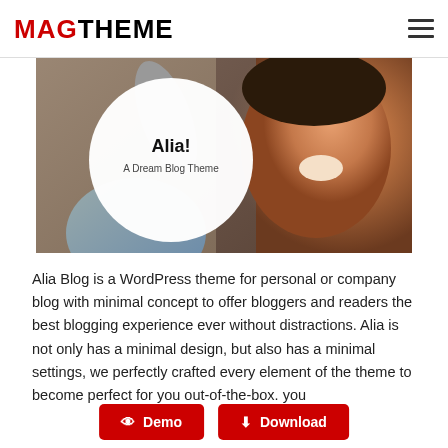MAGTHEME
[Figure (photo): Hero banner image showing a smiling woman with curly hair and hands raised, with a white circular overlay on the left containing text 'Alia! A Dream Blog Theme']
Alia Blog is a WordPress theme for personal or company blog with minimal concept to offer bloggers and readers the best blogging experience ever without distractions. Alia is not only has a minimal design, but also has a minimal settings, we perfectly crafted every element of the theme to become perfect for you out-of-the-box. you
Demo
Download